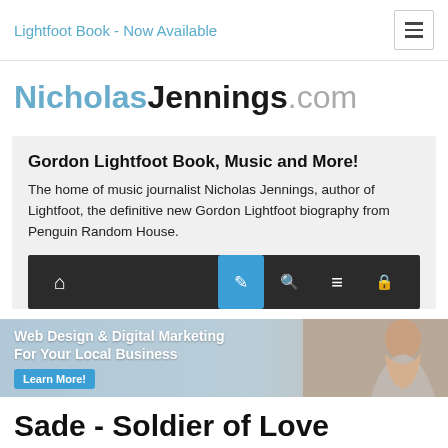Lightfoot Book - Now Available
NicholasJennings.com
Gordon Lightfoot Book, Music and More!
The home of music journalist Nicholas Jennings, author of Lightfoot, the definitive new Gordon Lightfoot biography from Penguin Random House.
[Figure (screenshot): Navigation bar with home, pencil/edit (active, blue), search, menu, and lock icons on dark background]
[Figure (infographic): Web Design & Digital Marketing For Your Local Business advertisement banner with Learn More! button and photo of a smiling woman]
Sade - Soldier of Love